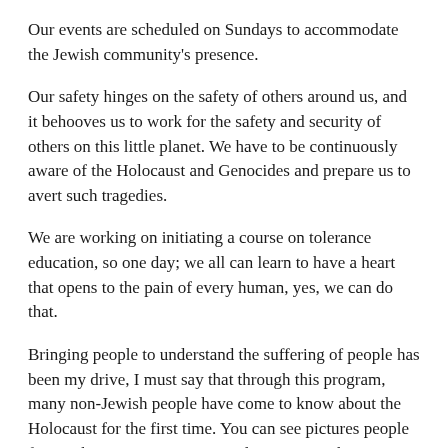Our events are scheduled on Sundays to accommodate the Jewish community's presence.
Our safety hinges on the safety of others around us, and it behooves us to work for the safety and security of others on this little planet. We have to be continuously aware of the Holocaust and Genocides and prepare us to avert such tragedies.
We are working on initiating a course on tolerance education, so one day; we all can learn to have a heart that opens to the pain of every human, yes, we can do that.
Bringing people to understand the suffering of people has been my drive, I must say that through this program, many non-Jewish people have come to know about the Holocaust for the first time. You can see pictures people from Atheist to Zoroastrians and everyone in between has been a part of this event. Moreover, everyone has shared a prayer in the past commemorations. We have to create the awareness to get people to become activists and speak up and Never say again.